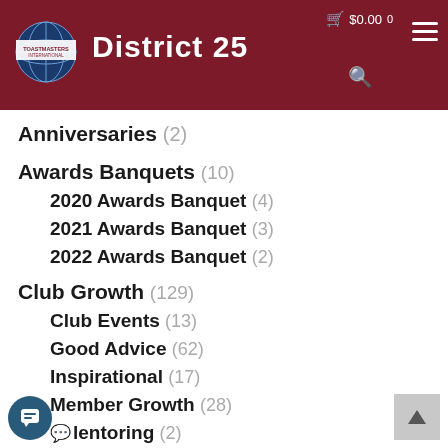Toastmasters International — District 25
Anniversaries (2)
Awards Banquets (10)
2020 Awards Banquet (4)
2021 Awards Banquet (3)
2022 Awards Banquet (2)
Club Growth (129)
Club Events (13)
Good Advice (62)
Inspirational (17)
Member Growth (28)
Mentoring (2)
Motivational (3)